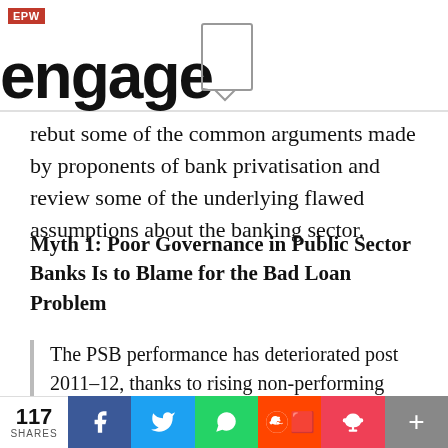EPW engage
rebut some of the common arguments made by proponents of bank privatisation and review some of the underlying flawed assumptions about the banking sector.
Myth 1: Poor Governance in Public Sector Banks Is to Blame for the Bad Loan Problem
The PSB performance has deteriorated post 2011–12, thanks to rising non-performing assets (NPAs). In March 2019, NPAs at PSBs were 12.6% of all
117 SHARES | Facebook | Twitter | WhatsApp | Reddit | Pocket | +